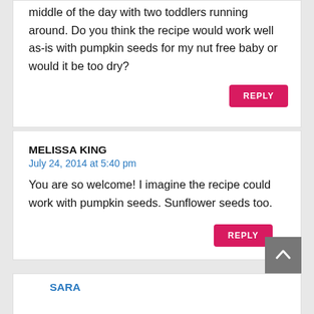middle of the day with two toddlers running around. Do you think the recipe would work well as-is with pumpkin seeds for my nut free baby or would it be too dry?
REPLY
MELISSA KING
July 24, 2014 at 5:40 pm
You are so welcome! I imagine the recipe could work with pumpkin seeds. Sunflower seeds too.
REPLY
SARA